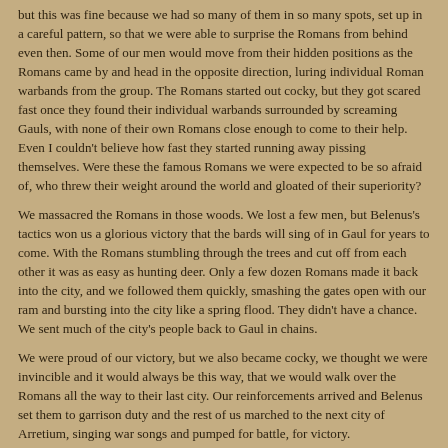but this was fine because we had so many of them in so many spots, set up in a careful pattern, so that we were able to surprise the Romans from behind even then. Some of our men would move from their hidden positions as the Romans came by and head in the opposite direction, luring individual Roman warbands from the group. The Romans started out cocky, but they got scared fast once they found their individual warbands surrounded by screaming Gauls, with none of their own Romans close enough to come to their help. Even I couldn't believe how fast they started running away pissing themselves. Were these the famous Romans we were expected to be so afraid of, who threw their weight around the world and gloated of their superiority?
We massacred the Romans in those woods. We lost a few men, but Belenus's tactics won us a glorious victory that the bards will sing of in Gaul for years to come. With the Romans stumbling through the trees and cut off from each other it was as easy as hunting deer. Only a few dozen Romans made it back into the city, and we followed them quickly, smashing the gates open with our ram and bursting into the city like a spring flood. They didn't have a chance. We sent much of the city's people back to Gaul in chains.
We were proud of our victory, but we also became cocky, we thought we were invincible and it would always be this way, that we would walk over the Romans all the way to their last city. Our reinforcements arrived and Belenus set them to garrison duty and the rest of us marched to the next city of Arretium, singing war songs and pumped for battle, for victory.
It was not to be. Oh, we got to Arretium fine, laid siege and set to building a ram. There were two Roman armies in the city, all well-th